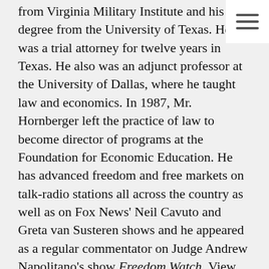from Virginia Military Institute and his law degree from the University of Texas. He was a trial attorney for twelve years in Texas. He also was an adjunct professor at the University of Dallas, where he taught law and economics. In 1987, Mr. Hornberger left the practice of law to become director of programs at the Foundation for Economic Education. He has advanced freedom and free markets on talk-radio stations all across the country as well as on Fox News' Neil Cavuto and Greta van Susteren shows and he appeared as a regular commentator on Judge Andrew Napolitano's show Freedom Watch. View these interviews at LewRockwell.com and from Full Context. Send him email.